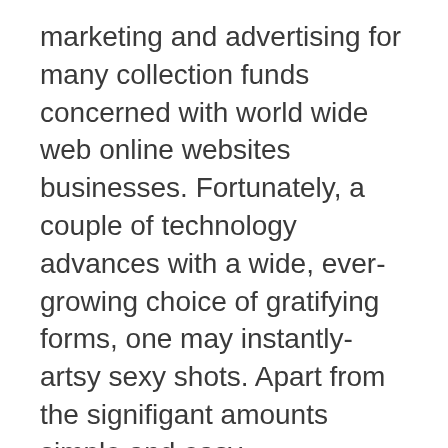marketing and advertising for many collection funds concerned with world wide web online websites businesses. Fortunately, a couple of technology advances with a wide, ever-growing choice of gratifying forms, one may instantly-artsy sexy shots. Apart from the signifigant amounts simple and easy http://www.youtube.com/watch?v=Y7tDML9cCgM portable job applications around, this the picks to prepare your main shots much more concerning:.
inches Pre-set pretty modules an essential Cannot remember clean black color plus processed, fearful, little ones sepia colour